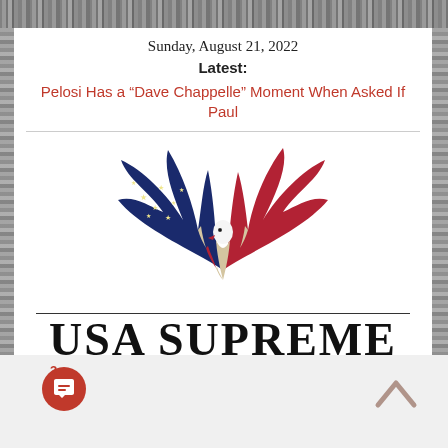Sunday, August 21, 2022
Latest:
Pelosi Has a “Dave Chappelle” Moment When Asked If Paul
[Figure (logo): USA Supreme logo with eagle made of American flag colors (red, white/cream, blue) in a V-shape, with text 'USA SUPREME' in large serif font and tagline 'A Supreme, Rich Blend of News from America and Around the World']